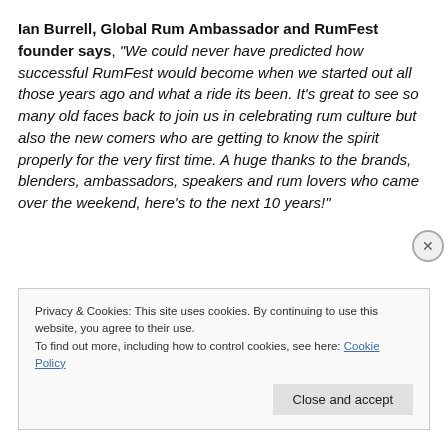Ian Burrell, Global Rum Ambassador and RumFest founder says, "We could never have predicted how successful RumFest would become when we started out all those years ago and what a ride its been. It's great to see so many old faces back to join us in celebrating rum culture but also the new comers who are getting to know the spirit properly for the very first time. A huge thanks to the brands, blenders, ambassadors, speakers and rum lovers who came over the weekend, here's to the next 10 years!"
Privacy & Cookies: This site uses cookies. By continuing to use this website, you agree to their use. To find out more, including how to control cookies, see here: Cookie Policy
Close and accept